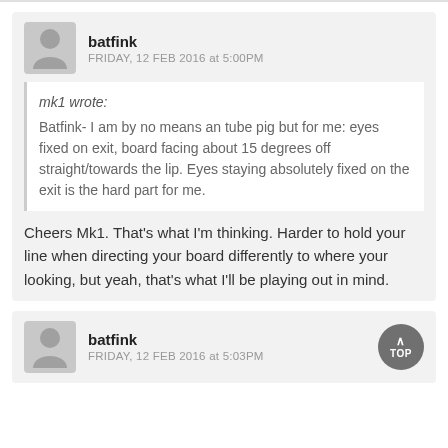batfink
FRIDAY, 12 FEB 2016 at 5:00PM
mk1 wrote:
Batfink- I am by no means an tube pig but for me: eyes fixed on exit, board facing about 15 degrees off straight/towards the lip. Eyes staying absolutely fixed on the exit is the hard part for me.
Cheers Mk1. That's what I'm thinking. Harder to hold your line when directing your board differently to where your looking, but yeah, that's what I'll be playing out in mind.
batfink
FRIDAY, 12 FEB 2016 at 5:03PM